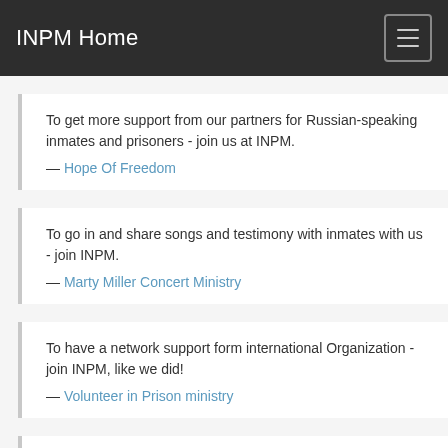INPM Home
To get more support from our partners for Russian-speaking inmates and prisoners - join us at INPM.
— Hope Of Freedom
To go in and share songs and testimony with inmates with us - join INPM.
— Marty Miller Concert Ministry
To have a network support form international Organization - join INPM, like we did!
— Volunteer in Prison ministry
To join men and women together and to agree on many situations and decisions to Praise God and his